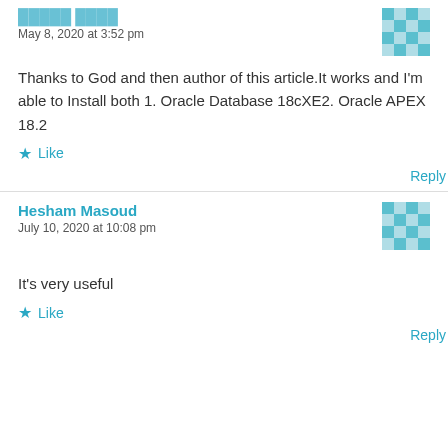[Author name truncated] — May 8, 2020 at 3:52 pm
Thanks to God and then author of this article.It works and I'm able to Install both 1. Oracle Database 18cXE2. Oracle APEX 18.2
Like
Reply
Hesham Masoud — July 10, 2020 at 10:08 pm
It's very useful
Like
Reply